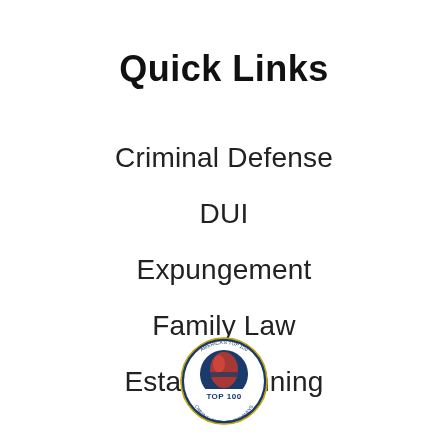Quick Links
Criminal Defense
DUI
Expungement
Family Law
Estate Planning
[Figure (logo): America's Top 100 Criminal Defense Attorneys circular badge logo with globe graphic and red/blue colors]